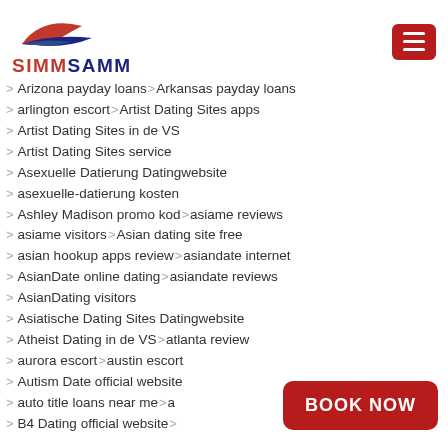[Figure (logo): SIMMSAMM logo with stylized bird/wave graphic in red and blue, and bold text SIMMSAMM in red and dark blue]
Arizona payday loans  Arkansas payday loans
arlington escort  Artist Dating Sites apps
Artist Dating Sites in de VS
Artist Dating Sites service
Asexuelle Datierung Datingwebsite
asexuelle-datierung kosten
Ashley Madison promo kod  asiame reviews
asiame visitors  Asian dating site free
asian hookup apps review  asiandate internet
AsianDate online dating  asiandate reviews
AsianDating visitors
Asiatische Dating Sites Datingwebsite
Atheist Dating in de VS  atlanta review
aurora escort  austin escort
Autism Date official website
auto title loans near me  a...
B4 Dating official website